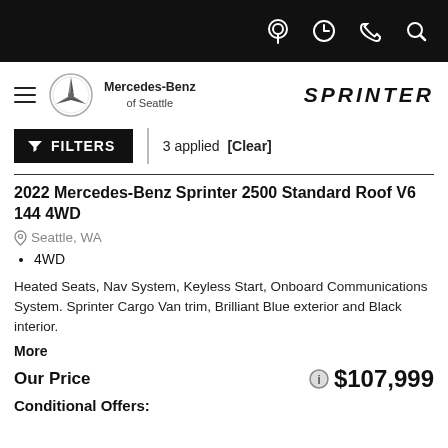Mercedes-Benz of Seattle — Sprinter — navigation icons
FILTERS | 3 applied [Clear]
2022 Mercedes-Benz Sprinter 2500 Standard Roof V6 144 4WD
Seattle, WA
4WD
Heated Seats, Nav System, Keyless Start, Onboard Communications System. Sprinter Cargo Van trim, Brilliant Blue exterior and Black interior.
More
Our Price $107,999
Conditional Offers: